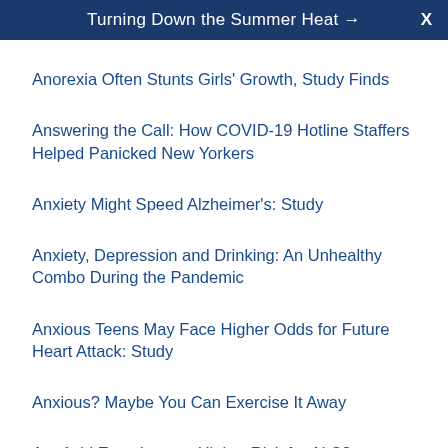Turning Down the Summer Heat →  X
Anorexia Often Stunts Girls' Growth, Study Finds
Answering the Call: How COVID-19 Hotline Staffers Helped Panicked New Yorkers
Anxiety Might Speed Alzheimer's: Study
Anxiety, Depression and Drinking: An Unhealthy Combo During the Pandemic
Anxious Teens May Face Higher Odds for Future Heart Attack: Study
Anxious? Maybe You Can Exercise It Away
Are Avid Exercisers at Higher Risk for ALS?
Are Rocket Scientists, Brain Surgeons Really Smarter Than Other Folks?
Are Workplace Robots Bringing Mental Harm to U.S. Workers?